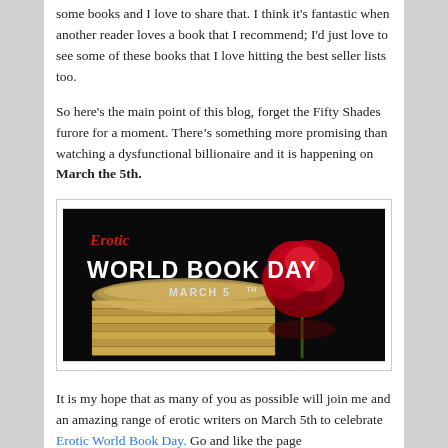some books and I love to share that. I think it's fantastic when another reader loves a book that I recommend; I'd just love to see some of these books that I love hitting the best seller lists too.
So here's the main point of this blog, forget the Fifty Shades furore for a moment. There's something more promising than watching a dysfunctional billionaire and it is happening on March the 5th.
[Figure (illustration): Banner image for Erotic World Book Day March 5th, showing a red rose resting on stacked books against a black background, with stylized text reading 'Erotic WORLD BOOK DAY MARCH 5TH']
It is my hope that as many of you as possible will join me and an amazing range of erotic writers on March 5th to celebrate Erotic World Book Day. Go and like the page